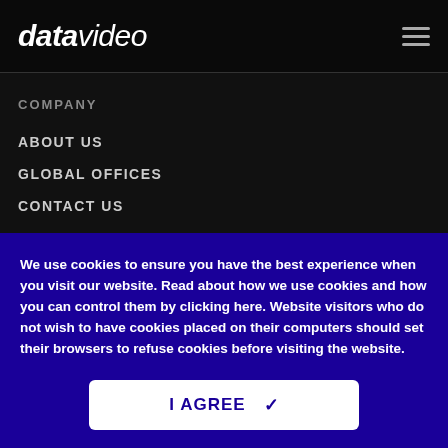datavideo
COMPANY
ABOUT US
GLOBAL OFFICES
CONTACT US
WHERE TO BUY
We use cookies to ensure you have the best experience when you visit our website. Read about how we use cookies and how you can control them by clicking here. Website visitors who do not wish to have cookies placed on their computers should set their browsers to refuse cookies before visiting the website.
I AGREE ✓